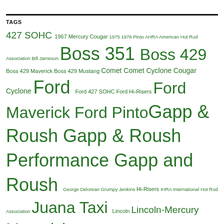TAGS
427 SOHC 1967 Mercury Cougar 1975 1976 Pinto AHRA American Hot Rod Association Bill Jameson Boss 351 Boss 429 Boss 429 Maverick Boss 429 Mustang Comet Comet Cyclone Cougar Cyclone Ford Ford 427 SOHC Ford Hi-Risers Ford Maverick Ford Pinto Gapp & Roush Gapp & Roush Performance Gapp and Roush George Delorean Grumpy Jenkins Hi-Risers IHRA International Hot Rod Association Juana Taxi Lincoln Lincoln-Mercury Maverick Mercury Mercury Cougar Mustang Mustang II NHRA NHRA Drag Rules Performance Engineering Pinto ... Taxi